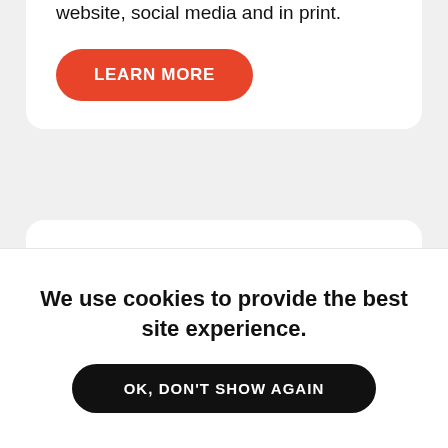website, social media and in print.
LEARN MORE
Project Manager
Location: Remote / All Locations
Imaguru Startup Hub is looking for a
We use cookies to provide the best site experience.
OK, DON'T SHOW AGAIN